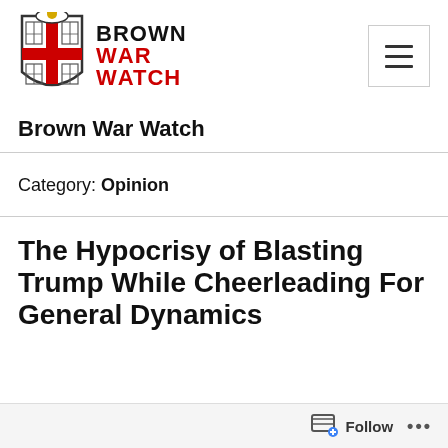[Figure (logo): Brown War Watch logo — shield crest with cross and open books, beside bold text BROWN WAR WATCH in black and red]
Brown War Watch
Category: Opinion
The Hypocrisy of Blasting Trump While Cheerleading For General Dynamics